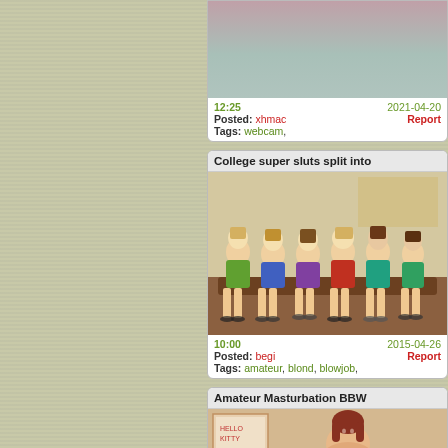[Figure (photo): Partial video thumbnail showing close-up of pink and teal textured surfaces. Duration 12:25, posted by xhmac on 2021-04-20, tagged webcam.]
12:25    2021-04-20
Posted: xhmac    Report
Tags: webcam,
College super sluts split into
[Figure (photo): Group photo of six young women sitting on a couch/bench in a room, smiling at camera. Duration 10:00, posted by begi on 2015-04-26.]
10:00    2015-04-26
Posted: begi    Report
Tags: amateur, blond, blowjob,
Amateur Masturbation BBW
[Figure (photo): Partial video thumbnail showing a woman in an indoor setting with a Hello Kitty board visible in the background.]